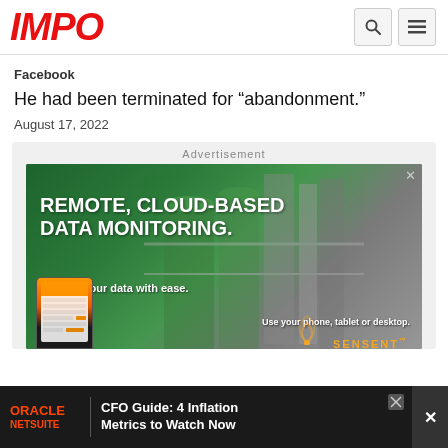IMPO
Facebook
He had been terminated for “abandonment.”
August 17, 2022
Advertisement
[Figure (photo): Advertisement banner: REMOTE, CLOUD-BASED DATA MONITORING. Monitor your data with ease. Use your phone, tablet or desktop. Shows industrial facility with green tanks and pipes, and a hand holding a smartphone with an orange dashboard app. Sensata logo at bottom right.]
[Figure (photo): Bottom banner ad: Oracle NetSuite | CFO Guide: 4 Inflation Metrics to Watch Now. Dark background with close button.]